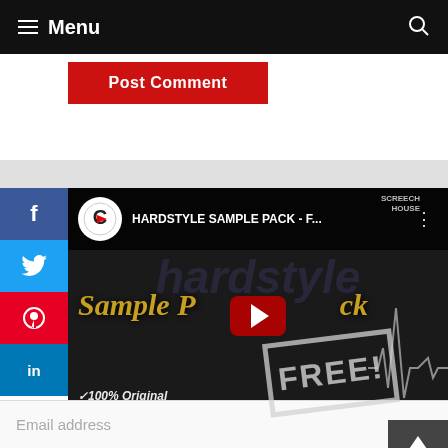Menu
Post Comment
[Figure (screenshot): YouTube video embed showing 'HARDSTYLE SAMPLE PACK - F...' with play button, Sample Pack text in gold italic, FREE stamp overlay, heartbeat line graphic, and bullet points: 100% Original, Highest quality, Fully exclusive. SCREECH branding visible.]
Email address